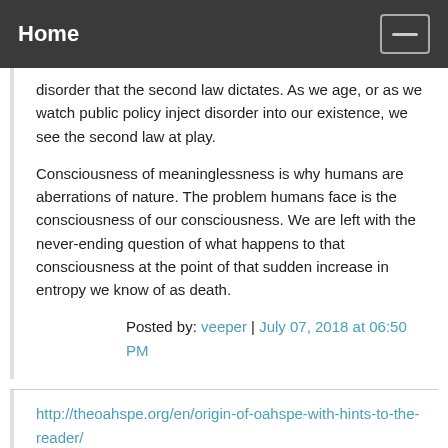Home
disorder that the second law dictates. As we age, or as we watch public policy inject disorder into our existence, we see the second law at play.
Consciousness of meaninglessness is why humans are aberrations of nature. The problem humans face is the consciousness of our consciousness. We are left with the never-ending question of what happens to that consciousness at the point of that sudden increase in entropy we know of as death.
Posted by: veeper | July 07, 2018 at 06:50 PM
http://theoahspe.org/en/origin-of-oahspe-with-hints-to-the-reader/
It's 30/40 years ago I bought the book OAHSPE
Partly because before initiation
I had practised some Pranayamas